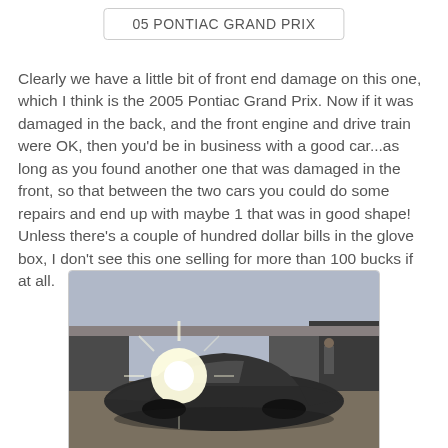05 PONTIAC GRAND PRIX
Clearly we have a little bit of front end damage on this one, which I think is the 2005 Pontiac Grand Prix. Now if it was damaged in the back, and the front engine and drive train were OK, then you'd be in business with a good car...as long as you found another one that was damaged in the front, so that between the two cars you could do some repairs and end up with maybe 1 that was in good shape! Unless there's a couple of hundred dollar bills in the glove box, I don't see this one selling for more than 100 bucks if at all.
[Figure (photo): Damaged 2005 Pontiac Grand Prix in a junkyard, dark colored car with front end damage, bright sunlight/lens flare visible, outdoor setting with other vehicles in background]